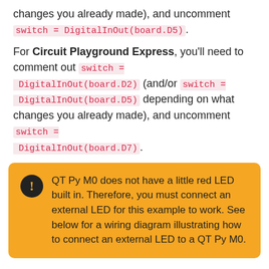changes you already made), and uncomment switch = DigitalInOut(board.D5).
For Circuit Playground Express, you'll need to comment out switch = DigitalInOut(board.D2) (and/or switch = DigitalInOut(board.D5) depending on what changes you already made), and uncomment switch = DigitalInOut(board.D7).
QT Py M0 does not have a little red LED built in. Therefore, you must connect an external LED for this example to work. See below for a wiring diagram illustrating how to connect an external LED to a QT Py M0.